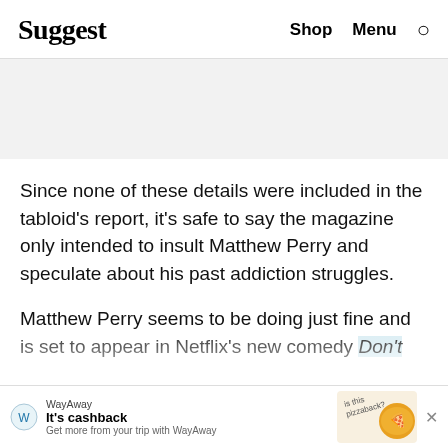Suggest  Shop  Menu  🔍
[Figure (other): Gray advertisement banner placeholder area]
Since none of these details were included in the tabloid's report, it's safe to say the magazine only intended to insult Matthew Perry and speculate about his past addiction struggles.
Matthew Perry seems to be doing just fine and is set to appear in Netflix's new comedy Don't Look [Up, co-starring Meryl...]
[Figure (other): WayAway advertisement banner: It's cashback - Get more from your trip with WayAway, with pizza hedgehog graphic]